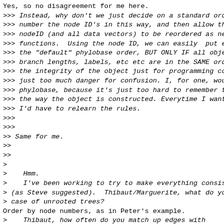Yes, so no disagreement for me here.
>>> Instead, why don't we just decide on a standard order
>>> number the node ID's in this way, and then allow the
>>> nodeID (and all data vectors) to be reordered as need
>>> functions.  Using the node ID, we can easily  put eve
>>> the "default" phylobase order, BUT ONLY IF all objec
>>> branch lengths, labels, etc etc are in the SAME order
>>> the integrity of the object just for programming conv
>>> just too much danger for confusion. I, for one, would
>>> phylobase, because it's just too hard to remember the
>>> the way the object is constructed. Everytime I wanted
>>> I'd have to relearn the rules.
>>>
>>>
>> Same for me.
>>
>>
>
>    Hmm.
>    I've been working to try to make everything consisten
> (as Steve suggested).  Thibaut/Marguerite, what do you
> case of unrooted trees?
Order by node numbers, as in Peter's example.
>    Thibaut, how often do you match up edges with
> data and labels?
>
Never. Not sure I will ever need to do so. All matching I
data/labels with tips and internal nodes.
>    I've done a bunch of stuff, and I'd like to commit
> all reasonably consistent now, but I'd like to hear som